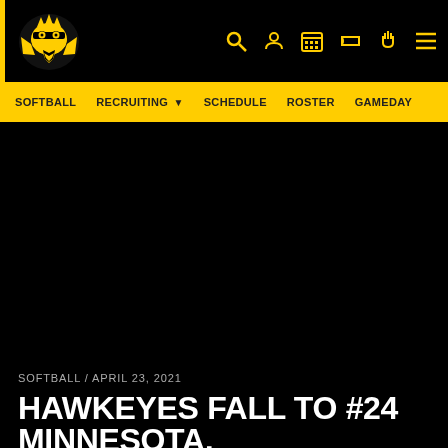Iowa Hawkeyes Athletics header with logo and navigation icons
SOFTBALL   RECRUITING ▼   SCHEDULE   ROSTER   GAMEDAY
[Figure (photo): Black image area - hero image for softball article]
SOFTBALL / APRIL 23, 2021
HAWKEYES FALL TO #24 MINNESOTA, 3-2